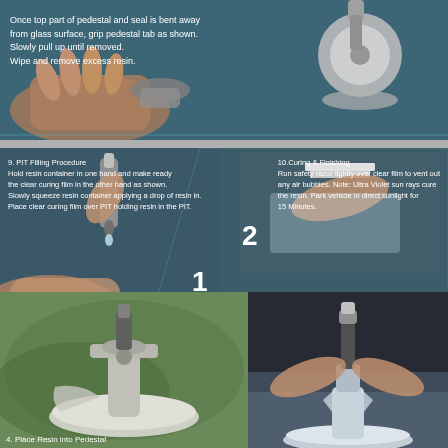[Figure (photo): Top panel showing hands peeling away a pedestal/seal from a glass windshield surface, with a circular suction cup device visible on the right side.]
Once top part of pedestal and seal is bent away from glass surface, grip pedestal tab as shown. Slowly pull up until removed. Wipe and remove excess resin.
[Figure (photo): Middle composite instruction panel showing windshield chip repair steps: Step 9 (PIT Filling Procedure) on the left with a resin applicator over the chip, numbered labels 1, 2, 3 in the center, Step 10 (Curing & Finishing) on the upper right with a razor over curing film, and Step 11 on the lower right showing scraping of cured resin.]
9. PIT Filling Procedure Hold resin container in one hand and make ready the clear curing film in the other hand as shown. Slowly squeeze resin container applying a drop of resin in. Place clear curing film over PIT holding resin in the PIT.
10.Curing & Finishing Run safety razor lightly over clear film to vent out any air bubbles. Note: Ultra Violet sun rays cure the resin. Park vehicle in direct sunlight for 15 Minutes.
11.(On hazy days, park vehicle in sun light for minimum of 1 hour. To Finish, scrape off cured resin and clear film flush with the glass surface using safety razor.
[Figure (photo): Bottom left panel showing a windshield repair pedestal/bridge device with suction cup base placed on green background.]
[Figure (photo): Bottom right panel showing a person placing resin applicator into the pedestal mounted on a windshield.]
4. Place Resin Into Pedestal